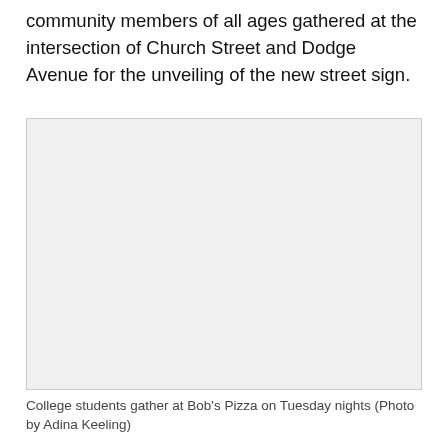community members of all ages gathered at the intersection of Church Street and Dodge Avenue for the unveiling of the new street sign.
[Figure (photo): Light gray placeholder rectangle representing a photograph of people gathering at Bob's Pizza on Tuesday nights.]
College students gather at Bob's Pizza on Tuesday nights (Photo by Adina Keeling)